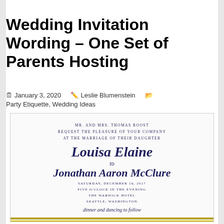Wedding Invitation Wording – One Set of Parents Hosting
January 3, 2020  Leslie Blumenstein  Party Etiquette, Wedding Ideas
[Figure (illustration): A formal wedding invitation for the marriage of Louisa Elaine to Jonathan Aaron McClure, hosted by Mr. and Mrs. Thomas Roost. Saturday, December 16, 2017, Five O'Clock in the Evening, The Warwick Hotel, Seattle, Washington. Dinner and dancing to follow.]